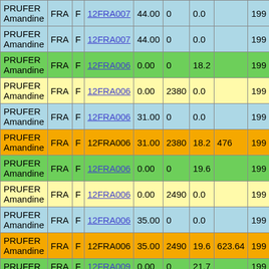| Name | Country | Sex | Code | Val1 | Val2 | Val3 | Val4 | Year |
| --- | --- | --- | --- | --- | --- | --- | --- | --- |
| PRUFER Amandine | FRA | F | 12FRA007 | 44.00 | 0 | 0.0 |  | 199 |
| PRUFER Amandine | FRA | F | 12FRA007 | 44.00 | 0 | 0.0 |  | 199 |
| PRUFER Amandine | FRA | F | 12FRA006 | 0.00 | 0 | 18.2 |  | 199 |
| PRUFER Amandine | FRA | F | 12FRA006 | 0.00 | 2380 | 0.0 |  | 199 |
| PRUFER Amandine | FRA | F | 12FRA006 | 31.00 | 0 | 0.0 |  | 199 |
| PRUFER Amandine | FRA | F | 12FRA006 | 31.00 | 2380 | 18.2 | 476 | 199 |
| PRUFER Amandine | FRA | F | 12FRA006 | 0.00 | 0 | 19.6 |  | 199 |
| PRUFER Amandine | FRA | F | 12FRA006 | 0.00 | 2490 | 0.0 |  | 199 |
| PRUFER Amandine | FRA | F | 12FRA006 | 35.00 | 0 | 0.0 |  | 199 |
| PRUFER Amandine | FRA | F | 12FRA006 | 35.00 | 2490 | 19.6 | 623.64 | 199 |
| PRUFER | FRA | F | 12FRA009 | 0.00 | 0 | 21.7 |  | 199 |